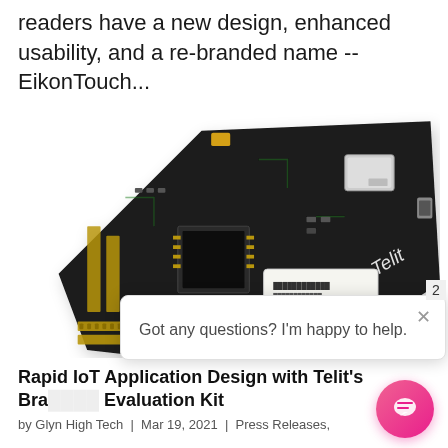readers have a new design, enhanced usability, and a re-branded name -- EikonTouch...
[Figure (photo): A Telit IoT development board (green PCB with black solder mask) showing various components including GPIO headers, SIM card slot, and the Telit logo, photographed at an angle on a white background.]
Got any questions? I'm happy to help.
Rapid IoT Application Design with Telit's Bra Evaluation Kit
by Glyn High Tech | Mar 19, 2021 | Press Releases,